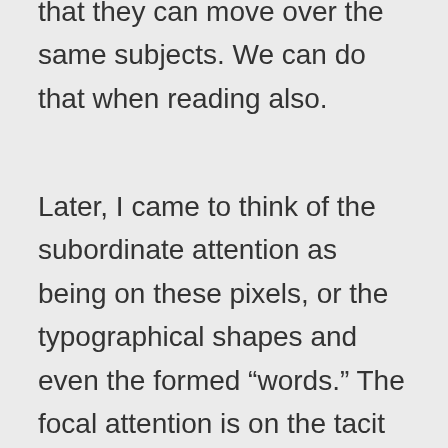that they can move over the same subjects. We can do that when reading also.
Later, I came to think of the subordinate attention as being on these pixels, or the typographical shapes and even the formed “words.” The focal attention is on the tacit leap we make to interpreting language and experiencing